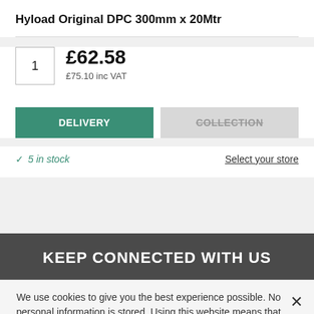Hyload Original DPC 300mm x 20Mtr
1  £62.58  £75.10 inc VAT
DELIVERY
COLLECTION
✓ 5 in stock
Select your store
KEEP CONNECTED WITH US
We use cookies to give you the best experience possible. No personal information is stored. Using this website means that you are ok with this cookie policy